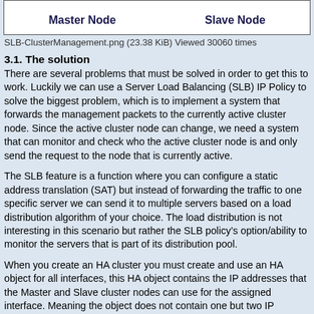[Figure (other): Diagram showing Master Node and Slave Node labels inside a bordered box, representing a cluster management topology (SLB-ClusterManagement.png).]
SLB-ClusterManagement.png (23.38 KiB) Viewed 30060 times
3.1. The solution
There are several problems that must be solved in order to get this to work. Luckily we can use a Server Load Balancing (SLB) IP Policy to solve the biggest problem, which is to implement a system that forwards the management packets to the currently active cluster node. Since the active cluster node can change, we need a system that can monitor and check who the active cluster node is and only send the request to the node that is currently active.
The SLB feature is a function where you can configure a static address translation (SAT) but instead of forwarding the traffic to one specific server we can send it to multiple servers based on a load distribution algorithm of your choice. The load distribution is not interesting in this scenario but rather the SLB policy’s option/ability to monitor the servers that is part of its distribution pool.
When you create an HA cluster you must create and use an HA object for all interfaces, this HA object contains the IP addresses that the Master and Slave cluster nodes can use for the assigned interface. Meaning the object does not contain one but two IP addresses. Not all interfaces need to be configured with valid IPv4HA addresses (e.g. no 127.x.x.x addresses) as it’s mainly used for management, log generation, SMTP